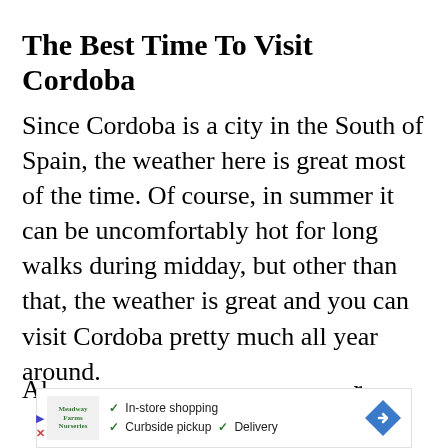The Best Time To Visit Cordoba
Since Cordoba is a city in the South of Spain, the weather here is great most of the time. Of course, in summer it can be uncomfortably hot for long walks during midday, but other than that, the weather is great and you can visit Cordoba pretty much all year around.
Al... [partial text obscured by advertisement]
[Figure (other): Advertisement banner with logo for Meadway Farms Nurseries showing checkmarks for In-store shopping, Curbside pickup, and Delivery, with a blue navigation arrow icon on the right.]